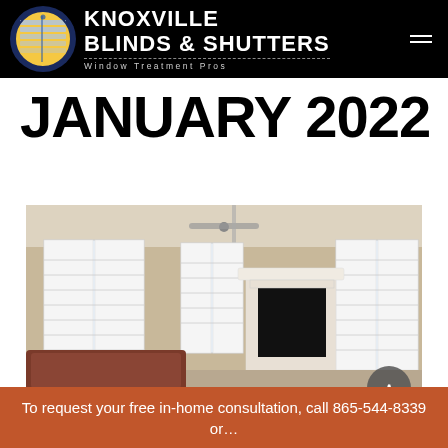KNOXVILLE BLINDS & SHUTTERS — Window Treatment Pros
JANUARY 2022
[Figure (photo): Interior living room photo showing plantation shutters on multiple windows, a white fireplace with dark interior, brown leather sofa, ceiling fan, and beige walls.]
To request your free in-home consultation, call 865-544-8339 or…